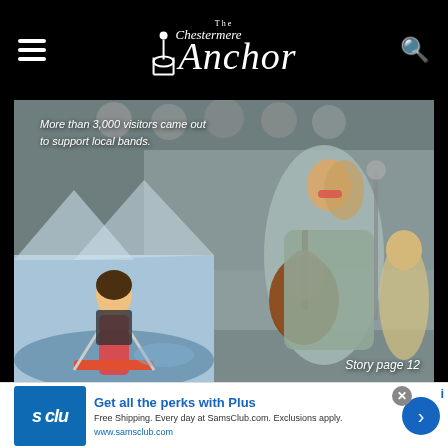The Chestermere Anchor
[Figure (photo): A woman playing acoustic guitar and singing on an outdoor stage at a local festival, wearing a light blue dress and sunglasses. In the foreground is a painted mural/artwork showing a cartoon figure water-skiing. Text overlay reads: 'More than 3,000 visitors came out to support local bands.' Bottom right label: 'Story page 12']
[Figure (infographic): Advertisement banner for Sam's Club Plus membership. Blue logo on left with 's clu' text. Headline: 'Get all the perks with Plus'. Description: 'Free Shipping. Every day at SamsClub.com. Exclusions apply.' URL: www.samsclub.com. Blue circular arrow button on right.]